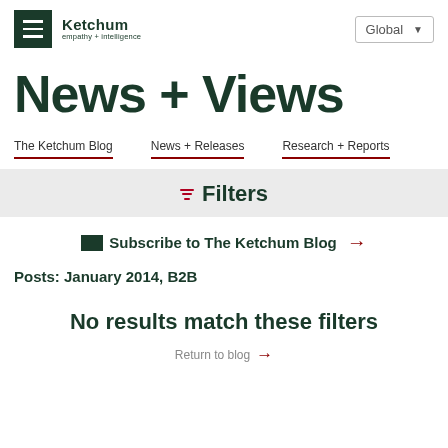Ketchum empathy + intelligence | Global
News + Views
The Ketchum Blog
News + Releases
Research + Reports
Filters
Subscribe to The Ketchum Blog →
Posts: January 2014, B2B
No results match these filters
Return to blog →